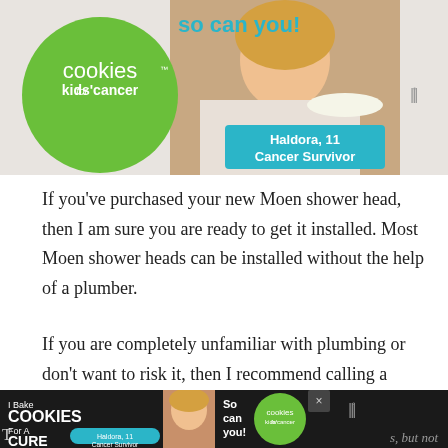[Figure (illustration): Advertisement banner for Cookies for Kids' Cancer showing a green circle logo with 'cookies for kids' cancer' text, a teal banner reading 'Haldora, 11 Cancer Survivor', and 'so can you!' text at the top with a person holding a plate of cookies.]
If you've purchased your new Moen shower head, then I am sure you are ready to get it installed. Most Moen shower heads can be installed without the help of a plumber.
If you are completely unfamiliar with plumbing or don't want to risk it, then I recommend calling a plumber for assistance. Before you begin, make sure that you read the instructions that come with your specific Moen shower head.
[Figure (illustration): Bottom advertisement bar for Cookies for Kids' Cancer with dark background showing 'I Bake COOKIES For A CURE', 'Haldora, 11 Cancer Survivor' teal badge, person photo, 'So can you!' text, cookies for kids cancer green circle logo, close X button, and Wunderman Thompson logo icon. Partially visible text at bottom left and right edges.]